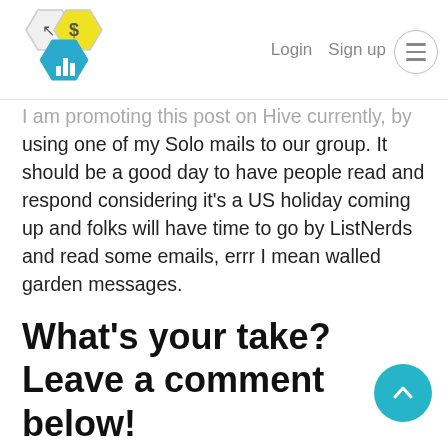Login  Sign up  ≡
I am promoting this post on Hive currently, by using one of my Solo mails to our group. It should be a good day to have people read and respond considering it's a US holiday coming up and folks will have time to go by ListNerds and read some emails, errr I mean walled garden messages.
What's your take? Leave a comment below!
I'd love to know your thoughts on the green aspect of ListNerds. @jongolson, would love your thoughts as well.
Sure I do some marketing, so I'd be remiss if I